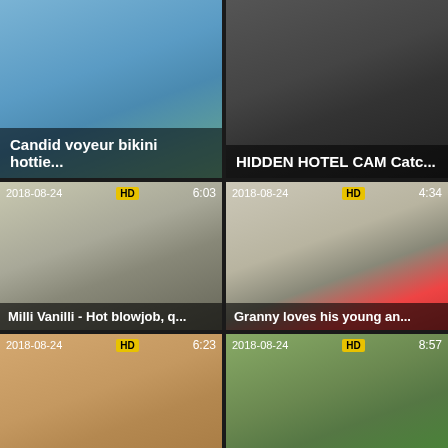[Figure (screenshot): Video thumbnail grid showing adult content video thumbnails with titles, dates, HD badges, and durations]
Candid voyeur bikini hottie...
HIDDEN HOTEL CAM Catc...
Milli Vanilli - Hot blowjob, q...
Granny loves his young an...
Naked blonde on a Nude b...
Stranded! I have to suck di...
Big Ass & Big Tit MILF Rid...
My boobs are smoking hot